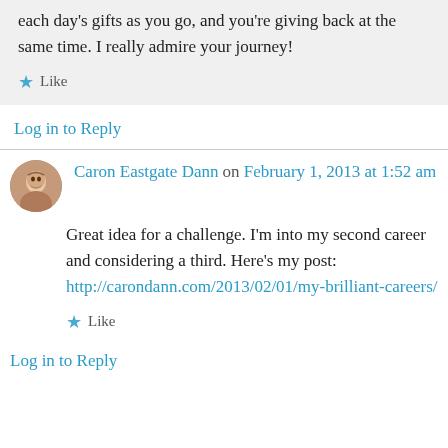each day's gifts as you go, and you're giving back at the same time. I really admire your journey!
Like
Log in to Reply
Caron Eastgate Dann on February 1, 2013 at 1:52 am
Great idea for a challenge. I'm into my second career and considering a third. Here's my post: http://carondann.com/2013/02/01/my-brilliant-careers/
Like
Log in to Reply